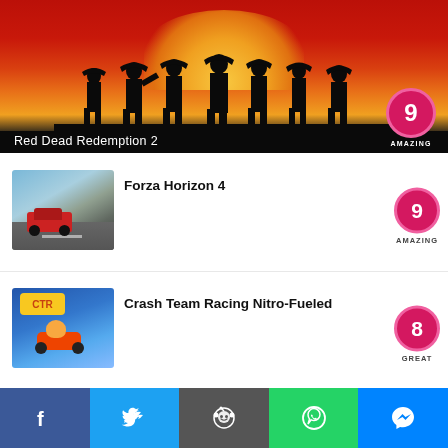[Figure (screenshot): Red Dead Redemption 2 hero banner with silhouettes of cowboys against an orange and red sunset. Score badge shows 9 AMAZING.]
Red Dead Redemption 2
9 AMAZING
[Figure (screenshot): Forza Horizon 4 thumbnail showing a red sports car on a road with blue sky. Score badge shows 9 AMAZING.]
Forza Horizon 4
9 AMAZING
[Figure (screenshot): Crash Team Racing Nitro-Fueled thumbnail showing cartoon characters racing. Score badge shows 8 GREAT.]
Crash Team Racing Nitro-Fueled
8 GREAT
[Figure (screenshot): Golf Story thumbnail showing golf course with blue sky. Score badge partially visible.]
Golf Story
[Figure (infographic): Social sharing bar with Facebook, Twitter, Reddit, WhatsApp, and Messenger buttons.]